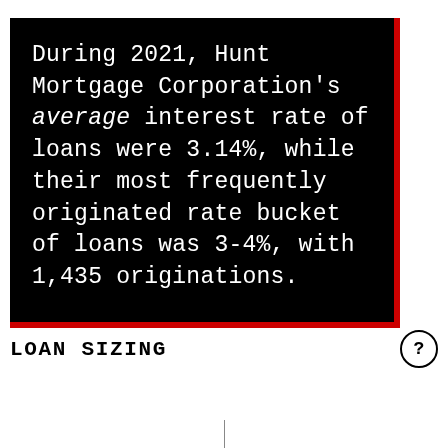During 2021, Hunt Mortgage Corporation's average interest rate of loans were 3.14%, while their most frequently originated rate bucket of loans was 3-4%, with 1,435 originations.
LOAN SIZING